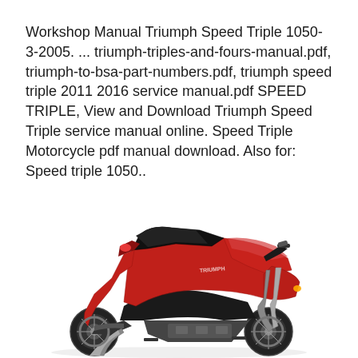Workshop Manual Triumph Speed Triple 1050-3-2005. ... triumph-triples-and-fours-manual.pdf, triumph-to-bsa-part-numbers.pdf, triumph speed triple 2011 2016 service manual.pdf SPEED TRIPLE, View and Download Triumph Speed Triple service manual online. Speed Triple Motorcycle pdf manual download. Also for: Speed triple 1050..
[Figure (photo): A red Triumph Speed Triple 1050 motorcycle photographed from the left side, showing the full bike with fairings, seat, handlebars, wheels and exhaust.]